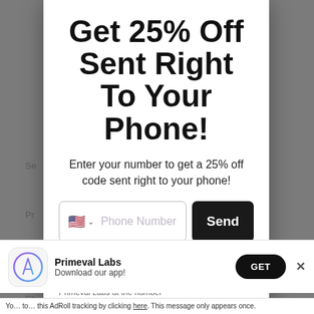Get 25% Off Sent Right To Your Phone!
Enter your number to get a 25% off code sent right to your phone!
Phone Number | Send
By entering your phone number and submitting this form, you consent to receive marketing text messages (such as promotion codes and cart reminders) from Primeval Labs at the number
[Figure (screenshot): App install banner with Primeval Labs app icon, name, 'Download our app!' subtitle, and GET button]
You ... to ... this AdRoll tracking by clicking here. This message only appears once.